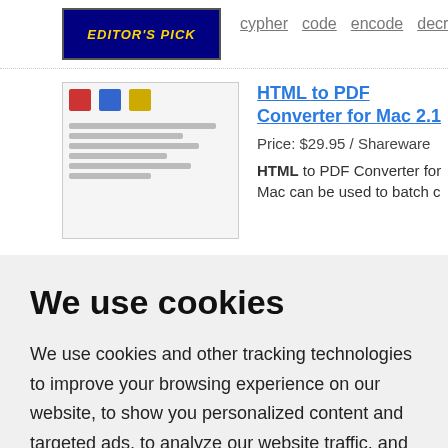[Figure (screenshot): Editor's Pick badge/logo for a software listing]
cypher code encode decrypt encrypt HTML Javasc
HTML to PDF Converter for Mac 2.1
Price: $29.95 / Shareware
HTML to PDF Converter for Mac can be used to batch c
We use cookies
We use cookies and other tracking technologies to improve your browsing experience on our website, to show you personalized content and targeted ads, to analyze our website traffic, and to understand where our visitors are coming from.
I agree
Change my preferences